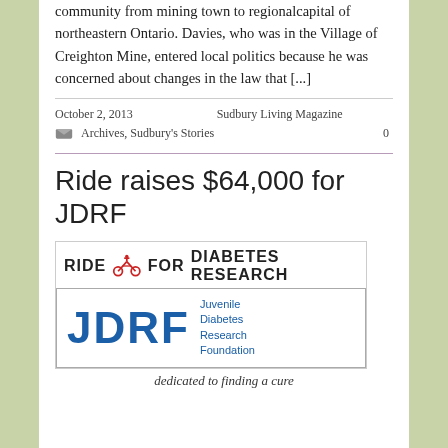community from mining town to regional capital of northeastern Ontario. Davies, who was in the Village of Creighton Mine, entered local politics because he was concerned about changes in the law that [...]
October 2, 2013   Sudbury Living Magazine
Archives, Sudbury's Stories   0
Ride raises $64,000 for JDRF
[Figure (logo): RIDE FOR DIABETES RESEARCH logo with JDRF (Juvenile Diabetes Research Foundation) logo and tagline 'dedicated to finding a cure']